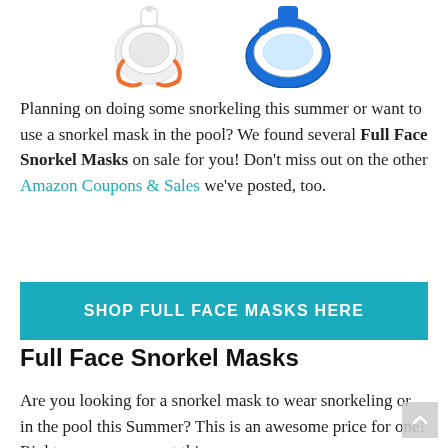[Figure (photo): Two full face snorkel masks: one white/orange on the left, one blue/white on the right, partially cropped at the top of the page.]
Planning on doing some snorkeling this summer or want to use a snorkel mask in the pool? We found several Full Face Snorkel Masks on sale for you! Don't miss out on the other Amazon Coupons & Sales we've posted, too.
SHOP FULL FACE MASKS HERE
Full Face Snorkel Masks
Are you looking for a snorkel mask to wear snorkeling or in the pool this Summer? This is an awesome price for one! Right now, you can get this